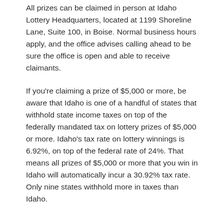All prizes can be claimed in person at Idaho Lottery Headquarters, located at 1199 Shoreline Lane, Suite 100, in Boise. Normal business hours apply, and the office advises calling ahead to be sure the office is open and able to receive claimants.
If you're claiming a prize of $5,000 or more, be aware that Idaho is one of a handful of states that withhold state income taxes on top of the federally mandated tax on lottery prizes of $5,000 or more. Idaho's tax rate on lottery winnings is 6.92%, on top of the federal rate of 24%. That means all prizes of $5,000 or more that you win in Idaho will automatically incur a 30.92% tax rate. Only nine states withhold more in taxes than Idaho.